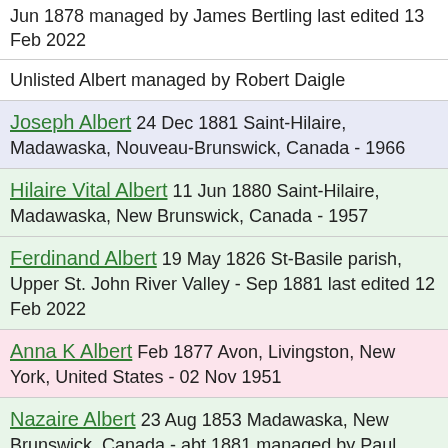Jun 1878 managed by James Bertling last edited 13 Feb 2022
Unlisted Albert managed by Robert Daigle
Joseph Albert 24 Dec 1881 Saint-Hilaire, Madawaska, Nouveau-Brunswick, Canada - 1966
Hilaire Vital Albert 11 Jun 1880 Saint-Hilaire, Madawaska, New Brunswick, Canada - 1957
Ferdinand Albert 19 May 1826 St-Basile parish, Upper St. John River Valley - Sep 1881 last edited 12 Feb 2022
Anna K Albert Feb 1877 Avon, Livingston, New York, United States - 02 Nov 1951
Nazaire Albert 23 Aug 1853 Madawaska, New Brunswick, Canada - abt 1881 managed by Paul Chisarik
Elise (Albert) Rossignol 25 Apr 1872 Frenchville, Aroostook, Maine, United States - 04